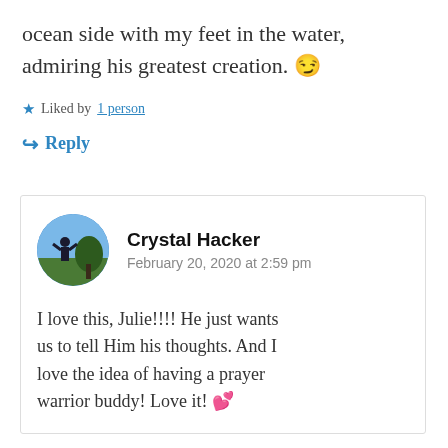ocean side with my feet in the water, admiring his greatest creation. 😉
★ Liked by 1 person
↪ Reply
[Figure (photo): Circular avatar photo of Crystal Hacker showing a person outdoors with blue sky and trees]
Crystal Hacker
February 20, 2020 at 2:59 pm
I love this, Julie!!!! He just wants us to tell Him his thoughts. And I love the idea of having a prayer warrior buddy! Love it! 💕